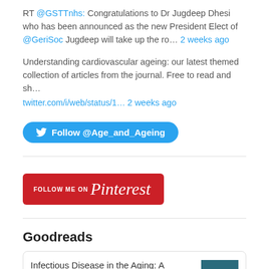RT @GSTTnhs: Congratulations to Dr Jugdeep Dhesi who has been announced as the new President Elect of @GeriSoc Jugdeep will take up the ro… 2 weeks ago
Understanding cardiovascular ageing: our latest themed collection of articles from the journal. Free to read and sh… twitter.com/i/web/status/1… 2 weeks ago
[Figure (other): Twitter Follow @Age_and_Ageing button (blue pill-shaped button with Twitter bird icon)]
[Figure (other): Follow Me on Pinterest button (red rounded rectangle button with Pinterest script logo)]
Goodreads
Infectious Disease in the Aging: A Clinical Handbook by Thomas T. Yoshikawa